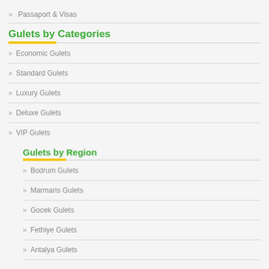» Passaport & Visas
Gulets by Categories
» Economic Gulets
» Standard Gulets
» Luxury Gulets
» Deluxe Gulets
» VIP Gulets
Gulets by Region
» Bodrum Gulets
» Marmaris Gulets
» Gocek Gulets
» Fethiye Gulets
» Antalya Gulets